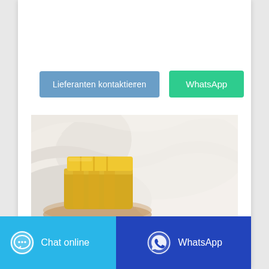[Figure (other): Two buttons: 'Lieferanten kontaktieren' (blue) and 'WhatsApp' (green)]
[Figure (photo): A yellow rectangular bar of beeswax or soap with ridged top surface, placed on a white cloth]
[Figure (other): Bottom bar with two buttons: 'Chat online' (light blue with chat icon) and 'WhatsApp' (dark blue with WhatsApp icon)]